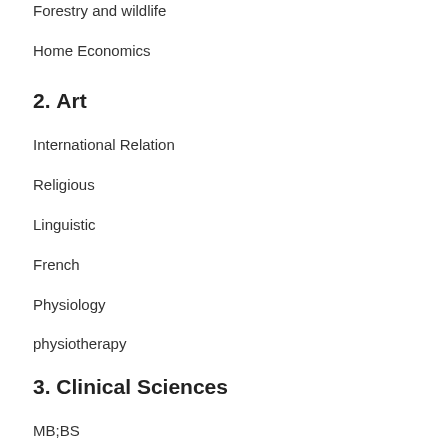Forestry and wildlife
Home Economics
2. Art
International Relation
Religious
Linguistic
French
Physiology
physiotherapy
3. Clinical Sciences
MB;BS